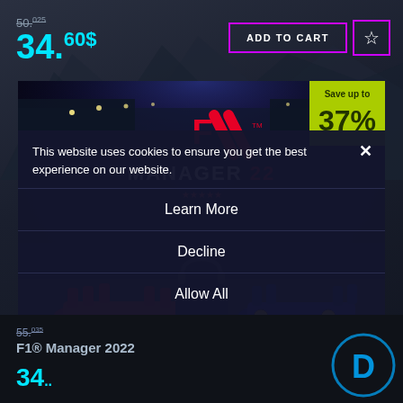50.025 (strikethrough)
34.60$
ADD TO CART
[Figure (screenshot): F1 Manager 2022 game cover art showing pit lane with Ferrari and Red Bull cars, race team members, and a person with headphones in the foreground. F1 Manager 22 logo visible. Save up to 37% badge in top right.]
This website uses cookies to ensure you get the best experience on our website.
Learn More
Decline
Allow All
F1® Manager 2022
55.035 (strikethrough)
34...